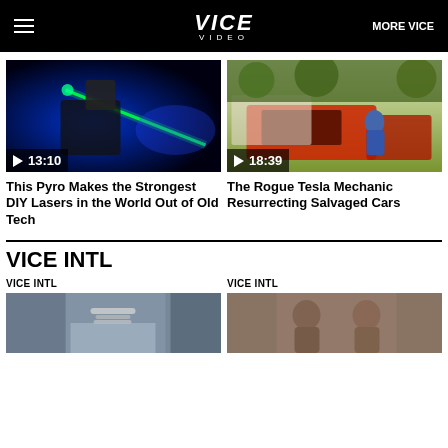VICE VIDEO — MORE VICE
[Figure (screenshot): Video thumbnail: person holding green laser in dark blue light, duration 13:10]
▶ 13:10
This Pyro Makes the Strongest DIY Lasers in the World Out of Old Tech
[Figure (screenshot): Video thumbnail: man sitting on salvaged red Tesla car frame outdoors, duration 18:39]
▶ 18:39
The Rogue Tesla Mechanic Resurrecting Salvaged Cars
VICE INTL
VICE INTL
[Figure (screenshot): Video thumbnail: person wearing chain necklace]
VICE INTL
[Figure (screenshot): Video thumbnail: two men standing together]